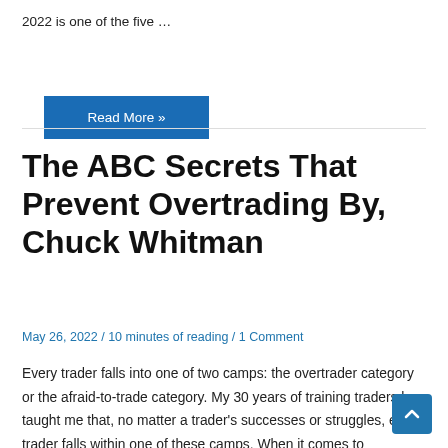2022 is one of the five …
Read More »
The ABC Secrets That Prevent Overtrading By, Chuck Whitman
May 26, 2022 / 10 minutes of reading / 1 Comment
Every trader falls into one of two camps: the overtrader category or the afraid-to-trade category. My 30 years of training traders has taught me that, no matter a trader's successes or struggles, every trader falls within one of these camps. When it comes to differentiating an overtrader from those afraid to trade, the